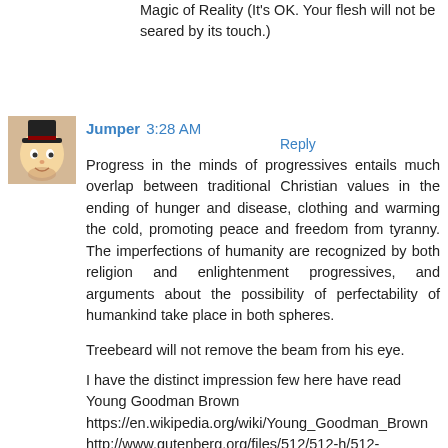Magic of Reality (It's OK. Your flesh will not be seared by its touch.)
Reply
[Figure (photo): Avatar image of commenter Jumper, showing a cartoon-style figure with a top hat]
Jumper 3:28 AM
Progress in the minds of progressives entails much overlap between traditional Christian values in the ending of hunger and disease, clothing and warming the cold, promoting peace and freedom from tyranny. The imperfections of humanity are recognized by both religion and enlightenment progressives, and arguments about the possibility of perfectability of humankind take place in both spheres.
Treebeard will not remove the beam from his eye.
I have the distinct impression few here have read Young Goodman Brown
https://en.wikipedia.org/wiki/Young_Goodman_Brown
http://www.gutenberg.org/files/512/512-h/512-h.htm#goodman